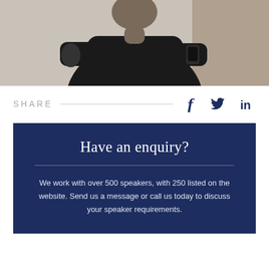[Figure (photo): Person wearing dark/black clothing, standing and appearing to speak or gesture, photographed from the torso up against a light background.]
SHARE
[Figure (infographic): Social media share icons: Facebook (f), Twitter (bird/y), LinkedIn (in)]
Have an enquiry?
We work with over 500 speakers, with 250 listed on the website. Send us a message or call us today to discuss your speaker requirements.